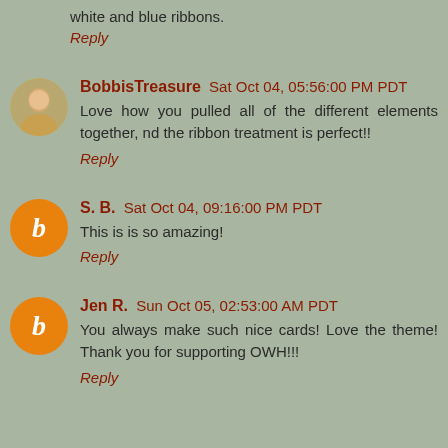white and blue ribbons.
Reply
BobbisTreasure  Sat Oct 04, 05:56:00 PM PDT
Love how you pulled all of the different elements together, nd the ribbon treatment is perfect!!
Reply
S. B.  Sat Oct 04, 09:16:00 PM PDT
This is is so amazing!
Reply
Jen R.  Sun Oct 05, 02:53:00 AM PDT
You always make such nice cards! Love the theme! Thank you for supporting OWH!!!
Reply